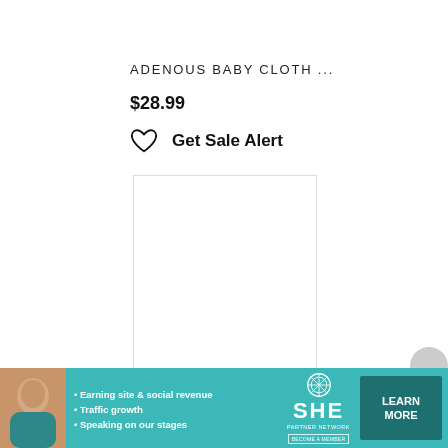ADENOUS BABY CLOTH ...
$28.99
Get Sale Alert
[Figure (other): White empty product image box with thin border]
[Figure (infographic): SHE Partner Network advertisement banner with teal background, woman photo, bullet points: Earning site & social revenue, Traffic growth, Speaking on our stages, SHE logo with wheel, LEARN MORE button, BECOME A MEMBER badge]